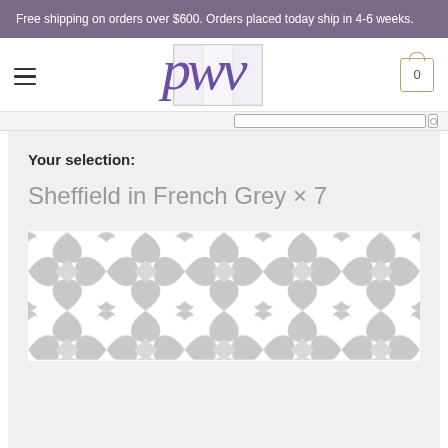Free shipping on orders over $600. Orders placed today ship in 4-6 weeks.
[Figure (logo): PWV logo with purple italic 'pwv' text overlaid on a 3-column grid box, hamburger menu icon on left, cart icon with '0' on right]
Your selection:
Sheffield in French Grey × 7
[Figure (illustration): Grey geometric moroccan/lattice tile pattern on white background]